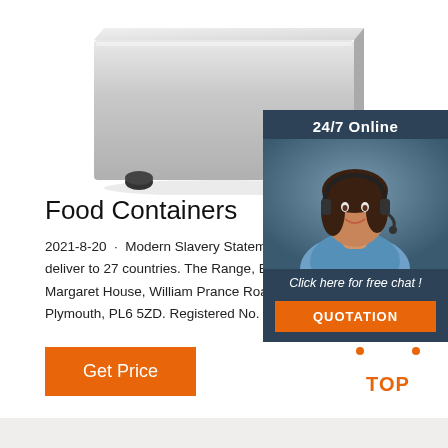[Figure (photo): Stainless steel food container/box on rubber feet, photographed from slightly above on white background]
[Figure (photo): 24/7 Online chat widget panel with dark navy background showing a smiling woman with headset, 'Click here for free chat!' text and orange QUOTATION button]
Food Containers
2021-8-20 · Modern Slavery Stateme deliver to 27 countries. The Range, El Margaret House, William Prance Roac Plymouth, PL6 5ZD. Registered No. ...
[Figure (other): Orange 'Get Price' button]
[Figure (other): Orange dotted triangle 'TOP' back-to-top button icon]